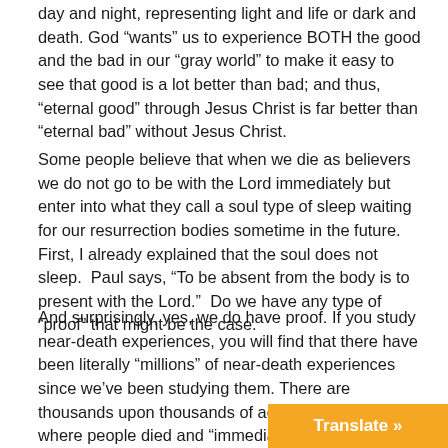day and night, representing light and life or dark and death. God “wants” us to experience BOTH the good and the bad in our “gray world” to make it easy to see that good is a lot better than bad; and thus, “eternal good” through Jesus Christ is far better than “eternal bad” without Jesus Christ.
Some people believe that when we die as believers we do not go to be with the Lord immediately but enter into what they call a soul type of sleep waiting for our resurrection bodies sometime in the future.  First, I already explained that the soul does not sleep.  Paul says, “To be absent from the body is to present with the Lord.”  Do we have any type of “proof” that might be the case.
And surprisingly, yes, we do have proof. If you study near-death experiences, you will find that there have been literally “millions” of near-death experiences since we’ve been studying them. There are thousands upon thousands of actual case studies where people died and “immediately” rose out of their body and started watching what was going on in the hospital or wherever they were; a